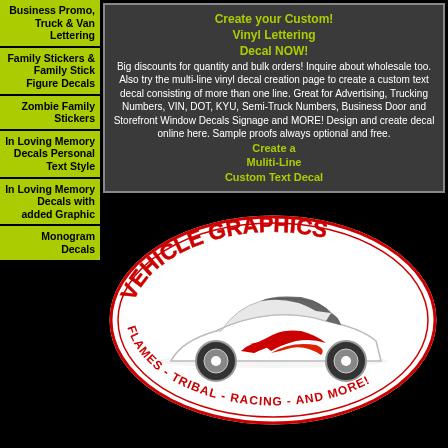Business Promo, Truck & Van Lettering
Family Stickers & Family Stick Figure Decals
Zombie Family Stickers
In Loving Memory Decals Personal Text Style
In Loving Memory Decals with added Graphic
Monogram Decals
Create your Custom! Vinyl Lettering Decal NOW! Big discounts for quantity and bulk orders! Inquire about wholesale too. Also try the multi-line vinyl decal creation page to create a custom text decal consisting of more than one line. Great for Advertising, Trucking Numbers, VIN, DOT, KYU, Semi-Truck Numbers, Business Door and Storefront Window Decals Signage and MORE! Design and create decal online here. Sample proofs always optional and free. Create a Muliti-Line Custom Text Decal
[Figure (logo): Vehicle Graphics oval logo with white car showing red flame graphics, text reads VEHICLE GRAPHICS and FLAMES - TRIBAL - RACING - AND MORE!]